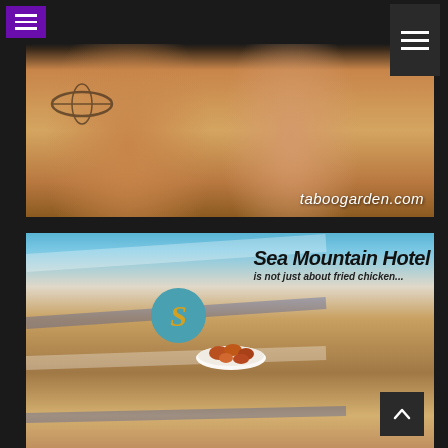Navigation bar with menu buttons
[Figure (photo): Photo of people at a pool or outdoor setting, with text overlay 'taboogarden.com' in white italic font, showing tan skin and a watermelon slice being eaten]
[Figure (photo): Advertisement photo for Sea Mountain Hotel showing a woman in a black swimsuit and sunglasses lounging by a pool, holding a plate of fried chicken, with circular S logo on a lounge chair. Text reads 'Sea Mountain Hotel is not just about fried chicken...']